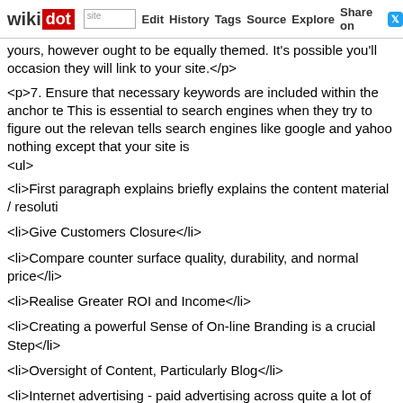wikidot | site | Edit | History | Tags | Source | Explore | Share on [Twitter]
yours, however ought to be equally themed. It's possible you'll occasion they will link to your site.</p>
<p>7. Ensure that necessary keywords are included within the anchor te This is essential to search engines when they try to figure out the relevan tells search engines like google and yahoo nothing except that your site is
<ul>
<li>First paragraph explains briefly explains the content material / resoluti
<li>Give Customers Closure</li>
<li>Compare counter surface quality, durability, and normal price</li>
<li>Realise Greater ROI and Income</li>
<li>Creating a powerful Sense of On-line Branding is a crucial Step</li>
<li>Oversight of Content, Particularly Blog</li>
<li>Internet advertising - paid advertising across quite a lot of strategies, e
<li>Create an internet site with Bluehost, Aweber and a premium enterpris
</ul>
<p>Subsequently, reaching out to her to grow your buisness and em attainable. Without making use of any preferential treatment, we loved l She appears very open and available when people ask for her opinion, a Search engine optimization as being just as much artwork as it's science.